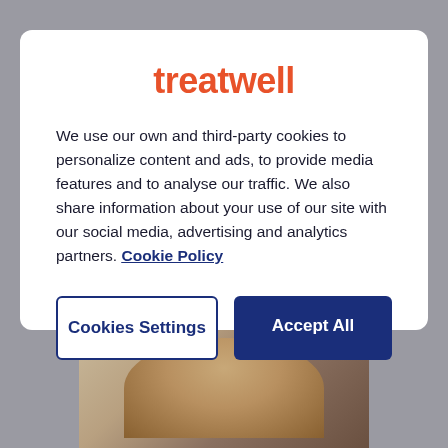treatwell
We use our own and third-party cookies to personalize content and ads, to provide media features and to analyse our traffic. We also share information about your use of our site with our social media, advertising and analytics partners. Cookie Policy
Cookies Settings
Accept All
[Figure (photo): Bottom portion of a person's head showing hair, partially visible at the bottom of the page behind the modal dialog]